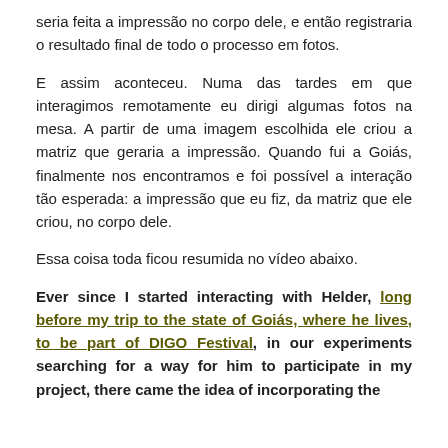seria feita a impressão no corpo dele, e então registraria o resultado final de todo o processo em fotos.
E assim aconteceu. Numa das tardes em que interagimos remotamente eu dirigi algumas fotos na mesa. A partir de uma imagem escolhida ele criou a matriz que geraria a impressão. Quando fui a Goiás, finalmente nos encontramos e foi possível a interação tão esperada: a impressão que eu fiz, da matriz que ele criou, no corpo dele.
Essa coisa toda ficou resumida no vídeo abaixo.
Ever since I started interacting with Helder, long before my trip to the state of Goiás, where he lives, to be part of DIGO Festival, in our experiments searching for a way for him to participate in my project, there came the idea of incorporating the